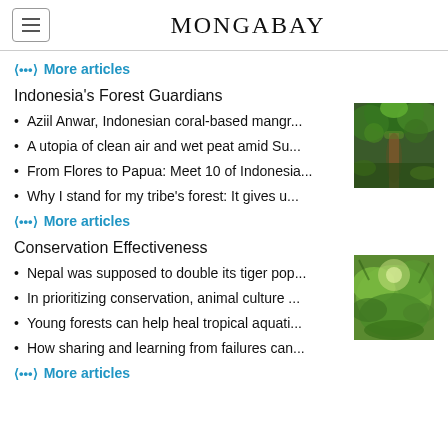MONGABAY
More articles
Indonesia's Forest Guardians
Aziil Anwar, Indonesian coral-based mangr...
A utopia of clean air and wet peat amid Su...
From Flores to Papua: Meet 10 of Indonesia...
Why I stand for my tribe's forest: It gives u...
[Figure (photo): Forest canopy photo looking up at tall trees]
More articles
Conservation Effectiveness
Nepal was supposed to double its tiger pop...
In prioritizing conservation, animal culture ...
Young forests can help heal tropical aquati...
How sharing and learning from failures can...
[Figure (photo): Green tropical leaves photo]
More articles